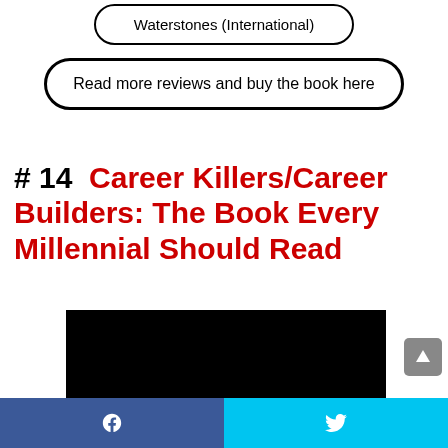Waterstones (International)
Read more reviews and buy the book here
# 14  Career Killers/Career Builders: The Book Every Millennial Should Read
[Figure (photo): Book cover image shown partially, dark/black background with text beginning to appear at the bottom.]
Facebook share button | Twitter share button